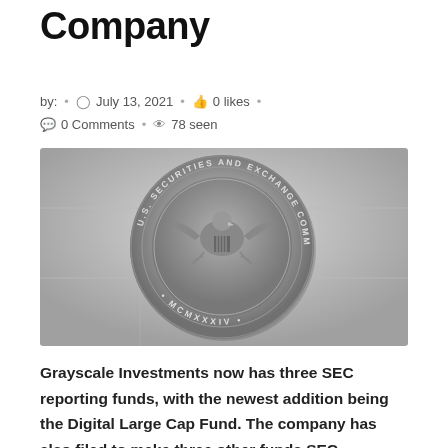Company
by: • July 13, 2021 • 0 likes • 0 Comments • 78 seen
[Figure (photo): U.S. Securities and Exchange Commission seal/medallion mounted on a stone wall, showing eagle emblem and text 'U.S. SECURITIES AND EXCHANGE COMMISSION • MCMXXXIV']
Grayscale Investments now has three SEC reporting funds, with the newest addition being the Digital Large Cap Fund. The company has also filed to make three other funds SEC reporting